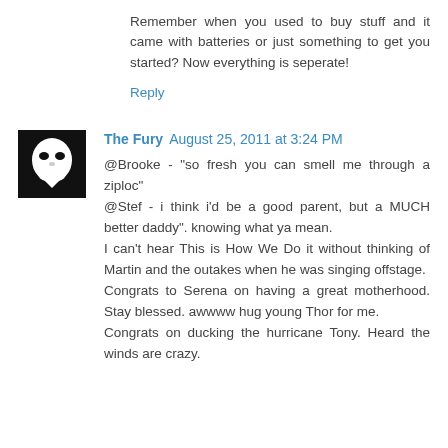Remember when you used to buy stuff and it came with batteries or just something to get you started? Now everything is seperate!
Reply
[Figure (illustration): Avatar image: black background with a white mask/face graphic]
The Fury August 25, 2011 at 3:24 PM
@Brooke - "so fresh you can smell me through a ziploc"
@Stef - i think i'd be a good parent, but a MUCH better daddy". knowing what ya mean.
I can't hear This is How We Do it without thinking of Martin and the outakes when he was singing offstage.
Congrats to Serena on having a great motherhood. Stay blessed. awwww hug young Thor for me.
Congrats on ducking the hurricane Tony. Heard the winds are crazy.